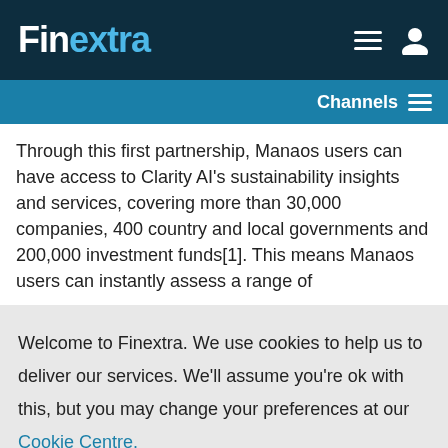Finextra
Through this first partnership, Manaos users can have access to Clarity AI's sustainability insights and services, covering more than 30,000 companies, 400 country and local governments and 200,000 investment funds[1]. This means Manaos users can instantly assess a range of
Welcome to Finextra. We use cookies to help us to deliver our services. We'll assume you're ok with this, but you may change your preferences at our Cookie Centre. Please read our Privacy Policy.